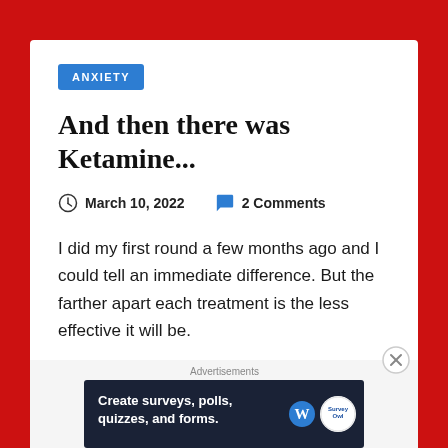ANXIETY
And then there was Ketamine...
March 10, 2022   2 Comments
I did my first round a few months ago and I could tell an immediate difference. But the farther apart each treatment is the less effective it will be.
Advertisements
[Figure (infographic): Advertisement banner: Create surveys, polls, quizzes, and forms. WordPress logo and Survey Owl badge visible.]